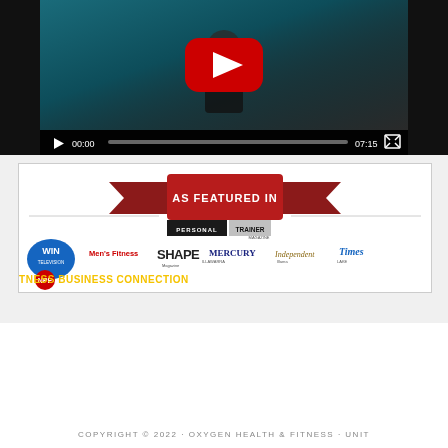[Figure (screenshot): YouTube video player showing a person in a gym. Controls show 00:00 start time and 07:15 total duration. Play button, progress bar, and fullscreen button visible.]
[Figure (infographic): As Featured In banner showing logos: WIN Television, Men's Fitness, SHAPE Magazine, Illawarra Mercury, Illawarra Independent, Lake Times, NPE Fitness Business Connection, Personal Trainer Magazine]
COPYRIGHT © 2022 · OXYGEN HEALTH & FITNESS · UNIT